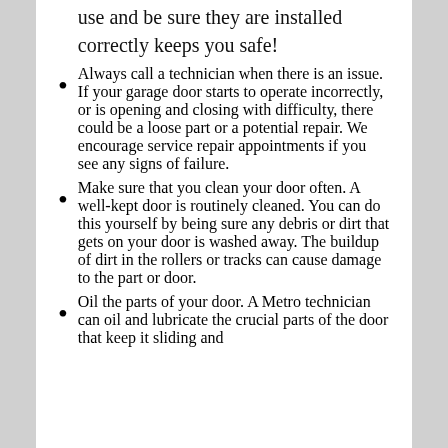use and be sure they are installed correctly keeps you safe!
Always call a technician when there is an issue. If your garage door starts to operate incorrectly, or is opening and closing with difficulty, there could be a loose part or a potential repair. We encourage service repair appointments if you see any signs of failure.
Make sure that you clean your door often. A well-kept door is routinely cleaned. You can do this yourself by being sure any debris or dirt that gets on your door is washed away. The buildup of dirt in the rollers or tracks can cause damage to the part or door.
Oil the parts of your door. A Metro technician can oil and lubricate the crucial parts of the door that keep it sliding and...